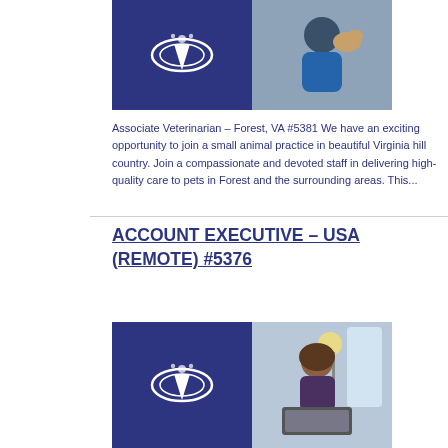[Figure (photo): Split image: left half shows dark blue/indigo background with a white veterinary logo (stylized V with animal paw), right half shows a person in blue shirt holding a black and white dog]
Associate Veterinarian – Forest, VA #5381 We have an exciting opportunity to join a small animal practice in beautiful Virginia hill country. Join a compassionate and devoted staff in delivering high-quality care to pets in Forest and the surrounding areas. This...
ACCOUNT EXECUTIVE – USA (REMOTE) #5376
[Figure (photo): Split image: left half shows dark blue/indigo background with a white veterinary logo (stylized V with animal paw), right half shows a woman with brown hair smiling while working on a laptop in a bright room with a lamp]